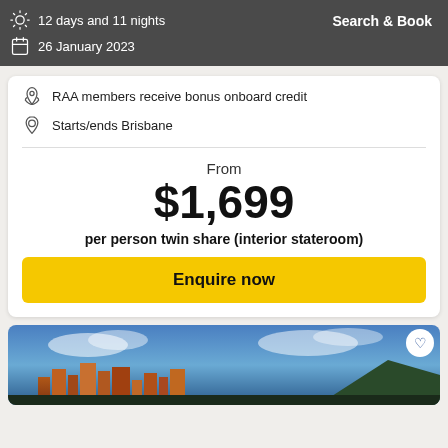12 days and 11 nights
Search & Book
26 January 2023
RAA members receive bonus onboard credit
Starts/ends Brisbane
From
$1,699
per person twin share (interior stateroom)
Enquire now
[Figure (photo): City skyline photo with tall buildings against a blue sky with clouds, likely Honolulu/Waikiki with Diamond Head in the background]